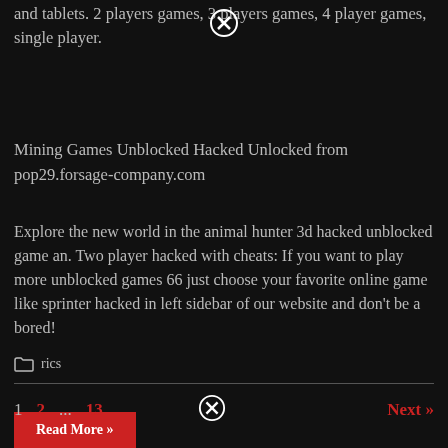and tablets. 2 players games, 3 players games, 4 player games, single player.
Mining Games Unblocked Hacked Unlocked from pop29.forsage-company.com
Explore the new world in the animal hunter 3d hacked unblocked game an. Two player hacked with cheats: If you want to play more unblocked games 66 just choose your favorite online game like sprinter hacked in left sidebar of our website and don't be a bored!
Read More »
rics
1  2  ...  13  Next »